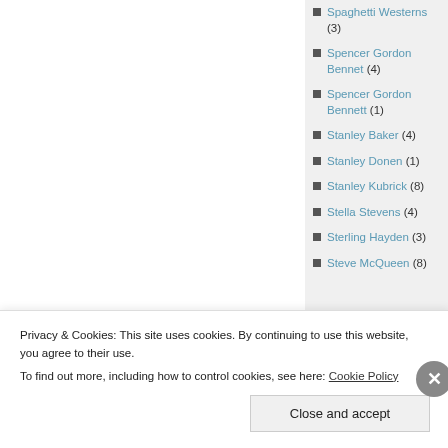Spaghetti Westerns (3)
Spencer Gordon Bennet (4)
Spencer Gordon Bennett (1)
Stanley Baker (4)
Stanley Donen (1)
Stanley Kubrick (8)
Stella Stevens (4)
Sterling Hayden (3)
Steve McQueen (8)
Privacy & Cookies: This site uses cookies. By continuing to use this website, you agree to their use.
To find out more, including how to control cookies, see here: Cookie Policy
Close and accept